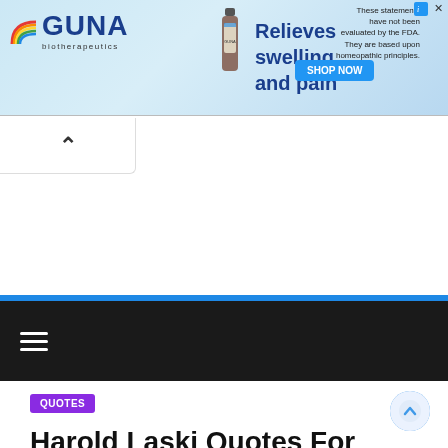[Figure (screenshot): GUNA biotherapeutics advertisement banner. Shows GUNA logo with rainbow icon, a product bottle image, headline 'Relieves swelling and pain', a blue 'SHOP NOW' button, and a disclaimer 'These statements have not been evaluated by the FDA. They are based upon homeopathic principles.']
[Figure (screenshot): Scroll-up chevron button (caret/up arrow) in a white rounded rectangle at top left below the ad banner.]
[Figure (screenshot): Dark navigation bar with hamburger menu icon (three horizontal white lines) on a near-black background, preceded by a thin blue horizontal divider line.]
QUOTES
Harold Laski Quotes For